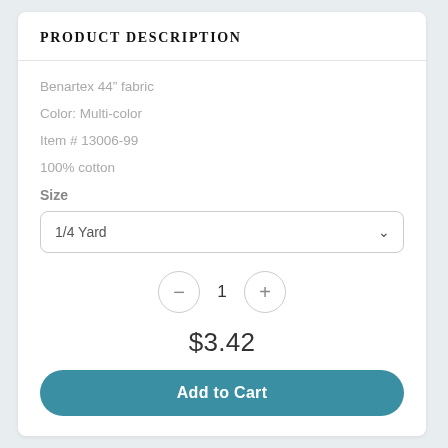PRODUCT DESCRIPTION
Benartex 44” fabric
Color: Multi-color
Item # 13006-99
100% cotton
Size
1/4 Yard
1
$3.42
Add to Cart